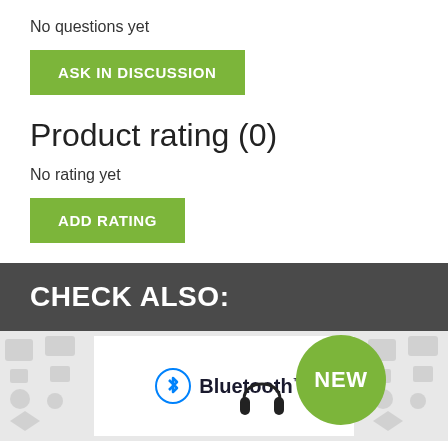No questions yet
ASK IN DISCUSSION
Product rating (0)
No rating yet
ADD RATING
CHECK ALSO:
[Figure (photo): Product card showing Bluetooth logo and a headphone silhouette with a green NEW badge, on a light grey background with faint tech icons]